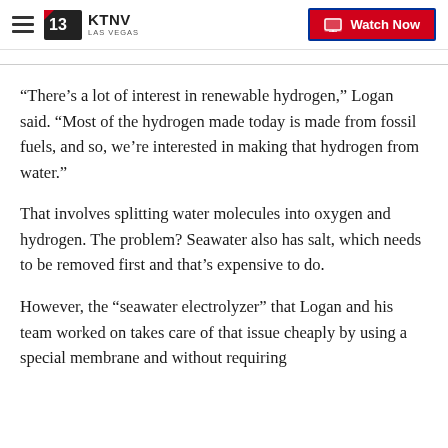KTNV LAS VEGAS | Watch Now
“There’s a lot of interest in renewable hydrogen,” Logan said. “Most of the hydrogen made today is made from fossil fuels, and so, we’re interested in making that hydrogen from water.”
That involves splitting water molecules into oxygen and hydrogen. The problem? Seawater also has salt, which needs to be removed first and that’s expensive to do.
However, the “seawater electrolyzer” that Logan and his team worked on takes care of that issue cheaply by using a special membrane and without requiring